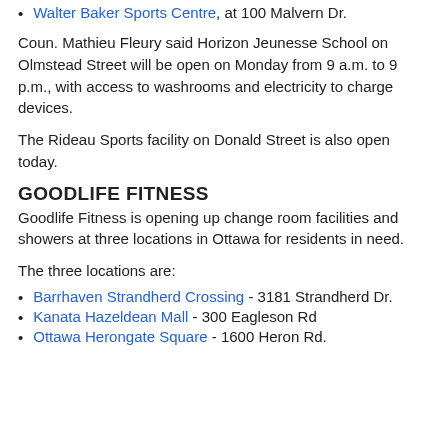Walter Baker Sports Centre, at 100 Malvern Dr.
Coun. Mathieu Fleury said Horizon Jeunesse School on Olmstead Street will be open on Monday from 9 a.m. to 9 p.m., with access to washrooms and electricity to charge devices.
The Rideau Sports facility on Donald Street is also open today.
GOODLIFE FITNESS
Goodlife Fitness is opening up change room facilities and showers at three locations in Ottawa for residents in need.
The three locations are:
Barrhaven Strandherd Crossing - 3181 Strandherd Dr.
Kanata Hazeldean Mall - 300 Eagleson Rd
Ottawa Herongate Square - 1600 Heron Rd.